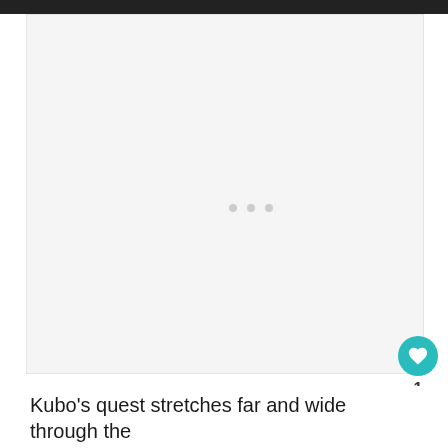[Figure (screenshot): A large light grey loading/placeholder area with three small grey dots in the center, representing a loading state or empty media content area]
Kubo's quest stretches far and wide through the